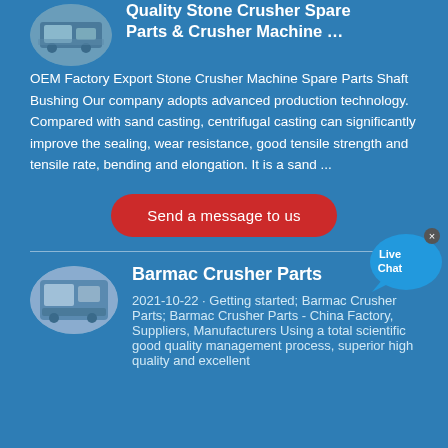[Figure (photo): Oval thumbnail image of stone crusher machine spare parts]
Quality Stone Crusher Spare Parts & Crusher Machine …
OEM Factory Export Stone Crusher Machine Spare Parts Shaft Bushing Our company adopts advanced production technology. Compared with sand casting, centrifugal casting can significantly improve the sealing, wear resistance, good tensile strength and tensile rate, bending and elongation. It is a sand ...
Send a message to us
[Figure (photo): Oval thumbnail image of Barmac crusher parts]
Barmac Crusher Parts
2021-10-22 · Getting started; Barmac Crusher Parts; Barmac Crusher Parts - China Factory, Suppliers, Manufacturers Using a total scientific good quality management process, superior high quality and excellent